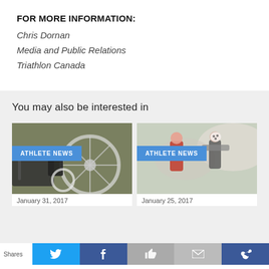FOR MORE INFORMATION:
Chris Dornan
Media and Public Relations
Triathlon Canada
You may also be interested in
[Figure (photo): Photo of a bicycle wheel/brake mechanism with ATHLETE NEWS badge overlay]
January 31, 2017
[Figure (photo): Photo of triathletes cycling in a race with ATHLETE NEWS badge overlay]
January 25, 2017
Shares  [Twitter] [Facebook] [Thumbs up] [Email] [More]